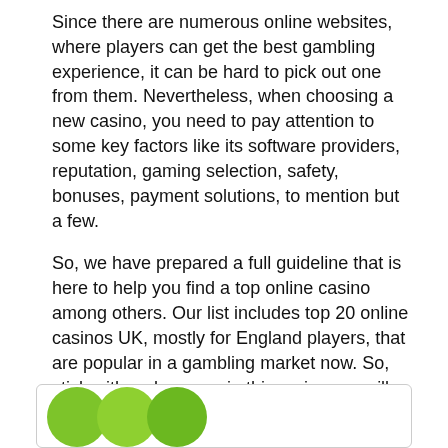Since there are numerous online websites, where players can get the best gambling experience, it can be hard to pick out one from them. Nevertheless, when choosing a new casino, you need to pay attention to some key factors like its software providers, reputation, gaming selection, safety, bonuses, payment solutions, to mention but a few.
So, we have prepared a full guideline that is here to help you find a top online casino among others. Our list includes top 20 online casinos UK, mostly for England players, that are popular in a gambling market now. So, stick with us because in this review we will cover a lot of ground about specific and unique casinos. Let us get started.
1. 888 casino
[Figure (illustration): Partial view of a logo with three overlapping green circles at the bottom of the page inside a rounded rectangle border.]